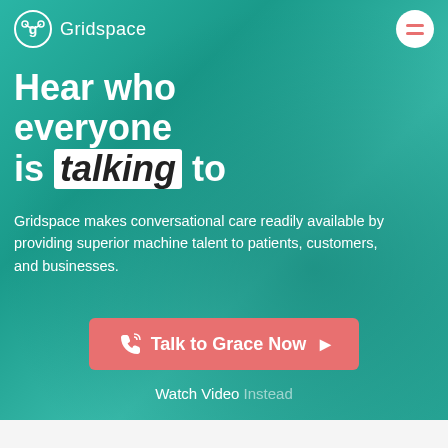Gridspace
Hear who everyone is talking to
Gridspace makes conversational care readily available by providing superior machine talent to patients, customers, and businesses.
Talk to Grace Now
Watch Video Instead